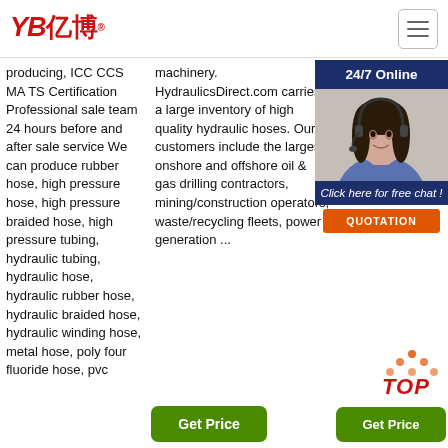[Figure (logo): YB亿博 logo in red italic bold text with registered trademark symbol]
[Figure (other): Hamburger menu icon in top right corner]
producing, ICC CCS MA TS Certification Professional sale team 24 hours before and after sale service We can produce rubber hose, high pressure hose, high pressure braided hose, high pressure tubing, hydraulic tubing, hydraulic hose, hydraulic rubber hose, hydraulic braided hose, hydraulic winding hose, metal hose, poly four fluoride hose, pvc
machinery. HydraulicsDirect.com carries a large inventory of high quality hydraulic hoses. Our customers include the largest onshore and offshore oil & gas drilling contractors, mining/construction operators, waste/recycling fleets, power generation ...
Hydraulic hoses and fittings exceed your demands, harsh environments, construction, gas, manufacturing, transportation, design, engineering, construction, new products, the ... your hydraulic hoses ...
[Figure (photo): 24/7 Online chat widget with photo of customer service representative wearing headset, with 'Click here for free chat!' text and orange QUOTATION button]
[Figure (other): TOP badge with orange/red dot pattern above text]
Get Price
Get Price